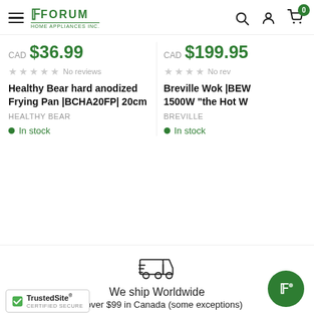Forum Home Appliances Inc. — navigation bar with logo, search, account, cart
CAD $36.99 — No reviews — Healthy Bear hard anodized Frying Pan |BCHA20FP| 20cm — HEALTHY BEAR — In stock
CAD $199.95 — No rev... — Breville Wok |BEW... 1500W "the Hot W... — BREVILLE — In stock
[Figure (logo): Forum Home Appliances Inc. green logo]
[Figure (illustration): Delivery truck icon indicating worldwide shipping]
We ship Worldwide
ing over $99 in Canada (some exceptions)
[Figure (logo): TrustedSite Certified Secure badge]
[Figure (logo): Forum green circular FAB button with F icon]